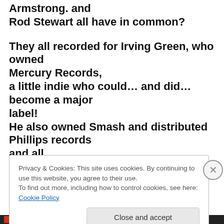Armstrong. and Rod Stewart all have in common?

They all recorded for Irving Green, who owned Mercury Records,
a little indie who could… and did… become a major label!
He also owned Smash and distributed Phillips records and all
of their subsidiaries. He was one of the first champions of
Privacy & Cookies: This site uses cookies. By continuing to use this website, you agree to their use.
To find out more, including how to control cookies, see here: Cookie Policy
Close and accept